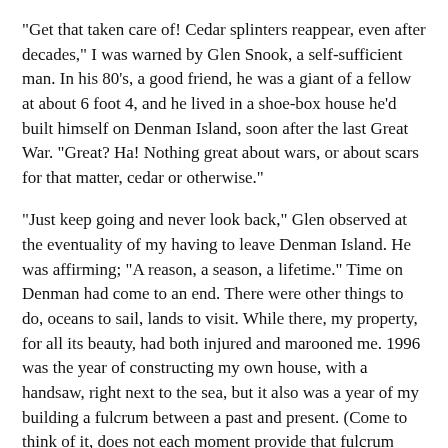"Get that taken care of! Cedar splinters reappear, even after decades," I was warned by Glen Snook, a self-sufficient man. In his 80's, a good friend, he was a giant of a fellow at about 6 foot 4, and he lived in a shoe-box house he'd built himself on Denman Island, soon after the last Great War. "Great? Ha! Nothing great about wars, or about scars for that matter, cedar or otherwise."
"Just keep going and never look back," Glen observed at the eventuality of my having to leave Denman Island. He was affirming; "A reason, a season, a lifetime." Time on Denman had come to an end. There were other things to do, oceans to sail, lands to visit. While there, my property, for all its beauty, had both injured and marooned me. 1996 was the year of constructing my own house, with a handsaw, right next to the sea, but it also was a year of my building a fulcrum between a past and present. (Come to think of it, does not each moment provide that fulcrum too?) So much loss attended the years concerning Denman, and the scars run deep. We all have them, scars that once felt a wound, and given the right moment, we pluck up their stories again, or we bury them yet deeper beneath the skin, cover them up, that others might not see.